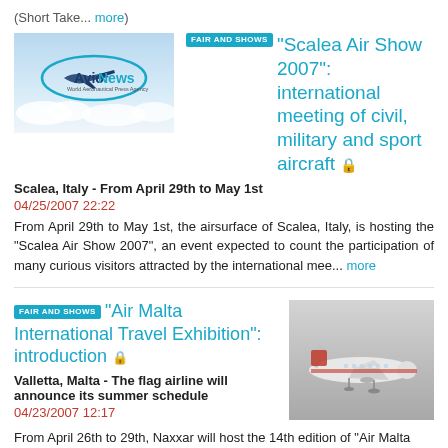(Short Take... more)
[Figure (photo): AvioNews World Aeronautical Press Agency logo with sky and clouds background]
"Scalea Air Show 2007": international meeting of civil, military and sport aircraft
Scalea, Italy - From April 29th to May 1st
04/25/2007 22:22
From April 29th to May 1st, the airsurface of Scalea, Italy, is hosting the "Scalea Air Show 2007", an event expected to count the participation of many curious visitors attracted by the international mee... more
"Air Malta International Travel Exhibition": introduction
[Figure (photo): Air Malta aircraft (Boeing 737) in flight against grey sky background]
Valletta, Malta - The flag airline will announce its summer schedule
04/23/2007 12:17
From April 26th to 29th, Naxxar will host the 14th edition of "Air Malta